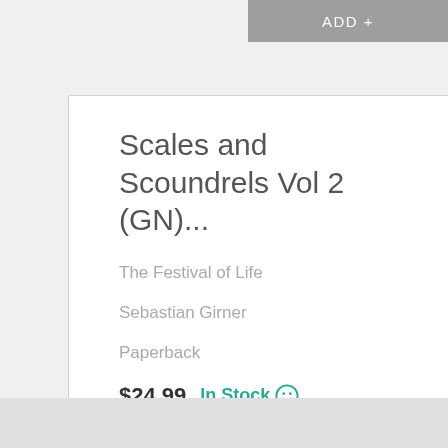ADD +
Scales and Scoundrels Vol 2 (GN)...
The Festival of Life
Sebastian Girner
Paperback
$24.99  In Stock
ADD +